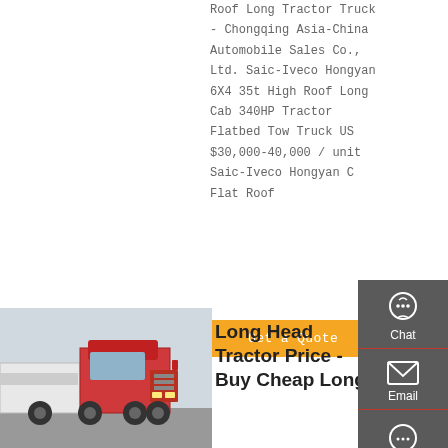Roof Long Tractor Truck - Chongqing Asia-China Automobile Sales Co., Ltd. Saic-Iveco Hongyan 6X4 35t High Roof Long Cab 340HP Tractor Flatbed Tow Truck US $30,000-40,000 / unit Saic-Iveco Hongyan C Flat Roof
[Figure (other): Right-side floating sidebar with Chat, Email, Contact, and Top navigation icons on a dark gray background]
[Figure (photo): Photo of a red long-head tractor truck (cabover style) parked in a lot with other white trucks]
Long Head Tractor Price - Buy Cheap Long